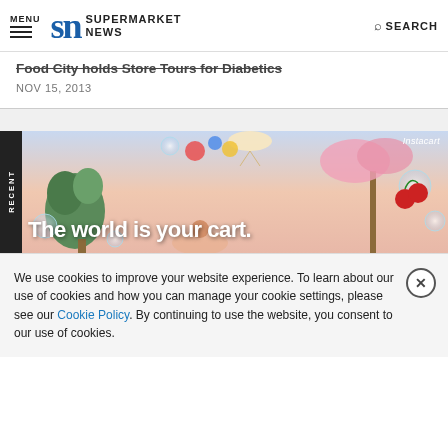MENU | SN SUPERMARKET NEWS | SEARCH
Food City holds Store Tours for Diabetics
NOV 15, 2013
[Figure (photo): Instacart advertisement banner showing a fantastical scene with bubbles, cherries, trees, and floating food items with tagline 'The world is your cart.']
We use cookies to improve your website experience. To learn about our use of cookies and how you can manage your cookie settings, please see our Cookie Policy. By continuing to use the website, you consent to our use of cookies.